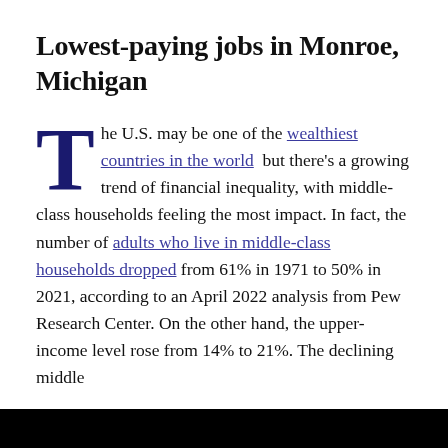Lowest-paying jobs in Monroe, Michigan
The U.S. may be one of the wealthiest countries in the world but there's a growing trend of financial inequality, with middle-class households feeling the most impact. In fact, the number of adults who live in middle-class households dropped from 61% in 1971 to 50% in 2021, according to an April 2022 analysis from Pew Research Center. On the other hand, the upper-income level rose from 14% to 21%. The declining middle
[Figure (other): Black video player area with white play button triangle in center; cookie consent icon badge in bottom-left corner]